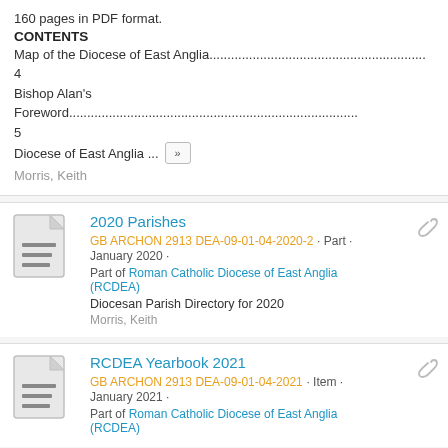160 pages in PDF format.
CONTENTS
Map of the Diocese of East Anglia.............................................................. 4
Bishop Alan's Foreword....................................................................................... 5
Diocese of East Anglia ... [»]
Morris, Keith
2020 Parishes
GB ARCHON 2913 DEA-09-01-04-2020-2 · Part · January 2020 ·
Part of Roman Catholic Diocese of East Anglia (RCDEA)
Diocesan Parish Directory for 2020
Morris, Keith
RCDEA Yearbook 2021
GB ARCHON 2913 DEA-09-01-04-2021 · Item · January 2021 ·
Part of Roman Catholic Diocese of East Anglia (RCDEA)